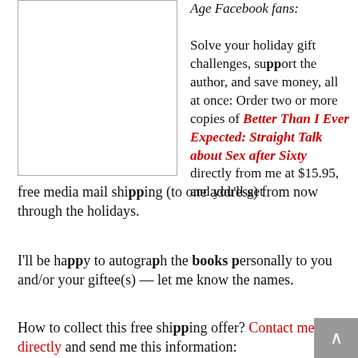[Figure (illustration): Book cover image placeholder box]
Age Facebook fans: Solve your holiday gift challenges, support the author, and save money, all at once: Order two or more copies of Better Than I Ever Expected: Straight Talk about Sex after Sixty directly from me at $15.95, and you'll get free media mail shipping (to one address) from now through the holidays.
I'll be happy to autograph the books personally to you and/or your giftee(s) — let me know the names.
How to collect this free shipping offer? Contact me directly and send me this information: